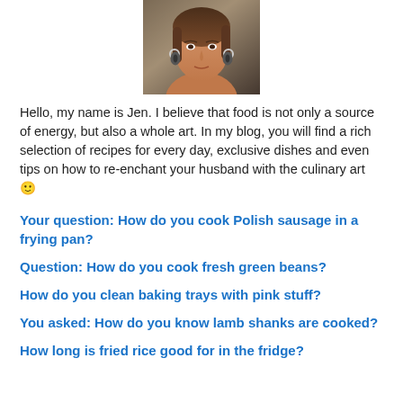[Figure (photo): Portrait photo of a woman with dark hair, hoop earrings, looking slightly downward]
Hello, my name is Jen. I believe that food is not only a source of energy, but also a whole art. In my blog, you will find a rich selection of recipes for every day, exclusive dishes and even tips on how to re-enchant your husband with the culinary art 🙂
Your question: How do you cook Polish sausage in a frying pan?
Question: How do you cook fresh green beans?
How do you clean baking trays with pink stuff?
You asked: How do you know lamb shanks are cooked?
How long is fried rice good for in the fridge?